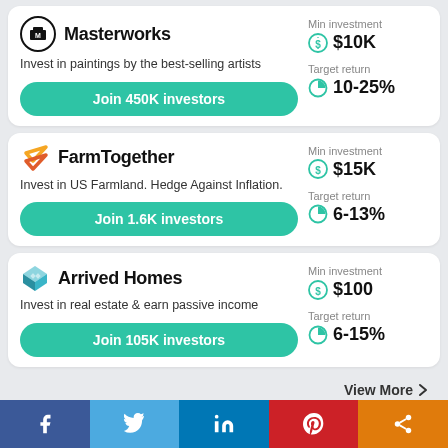Masterworks
Invest in paintings by the best-selling artists
Join 450K investors
Min investment $10K
Target return 10-25%
FarmTogether
Invest in US Farmland. Hedge Against Inflation.
Join 1.6K investors
Min investment $15K
Target return 6-13%
Arrived Homes
Invest in real estate & earn passive income
Join 105K investors
Min investment $100
Target return 6-15%
View More